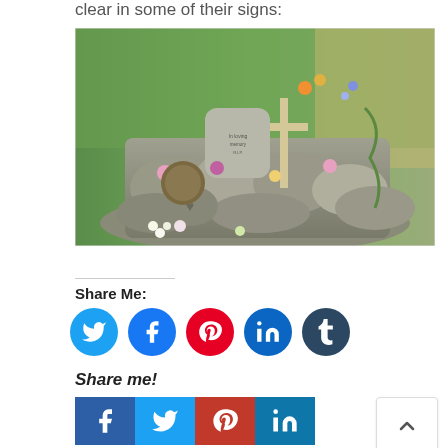clear in some of their signs:
[Figure (photo): A roadside memorial made of stacked stones with a wooden cross, flowers, and inscribed rocks, set against green grass and shrubbery.]
Share Me:
[Figure (infographic): Row of five social media share buttons (circles): Twitter, Facebook, Pinterest, LinkedIn, Tumblr]
Share me!
[Figure (infographic): Row of four social media share buttons (squares): Facebook, Twitter, Pinterest, LinkedIn]